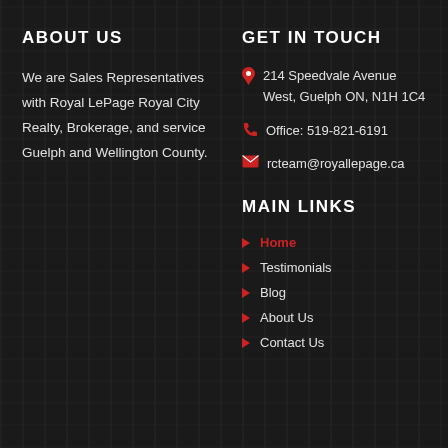ABOUT US
We are Sales Representatives with Royal LePage Royal City Realty, Brokerage, and service Guelph and Wellington County.
GET IN TOUCH
214 Speedvale Avenue West, Guelph ON, N1H 1C4
Office: 519-821-6191
rcteam@royallepage.ca
MAIN LINKS
Home
Testimonials
Blog
About Us
Contact Us